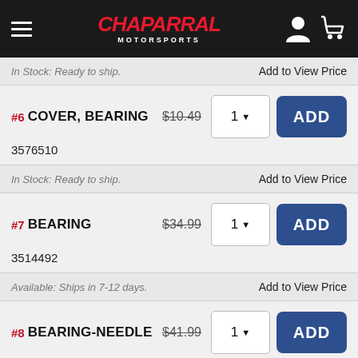[Figure (logo): Chaparral Motorsports logo and navigation header with hamburger menu, user icon, and cart icon on dark background]
In Stock: Ready to ship.
Add to View Price
#6 COVER, BEARING  $10.49  3576510
#7 BEARING  $34.99  3514492
In Stock: Ready to ship.
Add to View Price
Available: Ships in 7-12 days.
Add to View Price
#8 BEARING-NEEDLE  $41.99  3514609
Available: Ships in 7-12 days.
Add to View Price